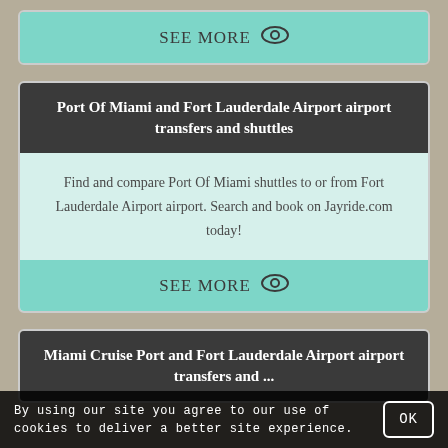SEE MORE
Port Of Miami and Fort Lauderdale Airport airport transfers and shuttles
Find and compare Port Of Miami shuttles to or from Fort Lauderdale Airport airport. Search and book on Jayride.com today!
SEE MORE
Miami Cruise Port and Fort Lauderdale Airport airport transfers and ...
By using our site you agree to our use of cookies to deliver a better site experience.